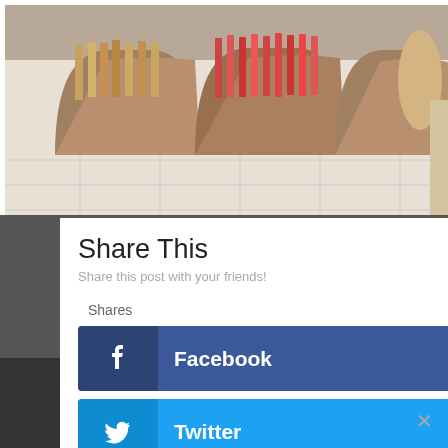[Figure (photo): Photo of paper/kraft bags containing magazines or papers, arranged on a white tile floor]
Share This
Share this post with your friends!
Shares
Facebook
Twitter
Google+
Pinterest